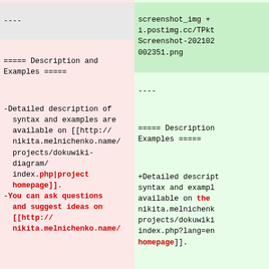screenshot_img + i.postimg.cc/TPkt Screenshot-202102 002351.png
----
----

===== Description and Examples =====

-Detailed description of syntax and examples are available on [[http://nikita.melnichenko.name/projects/dokuwiki-diagram/index.php|project homepage]].
-You can ask questions and suggest ideas on [[http://nikita.melnichenko.name/
----

===== Description Examples =====

+Detailed descript syntax and exampl available on the nikita.melnichenk projects/dokuwiki index.php?lang=en homepage]].